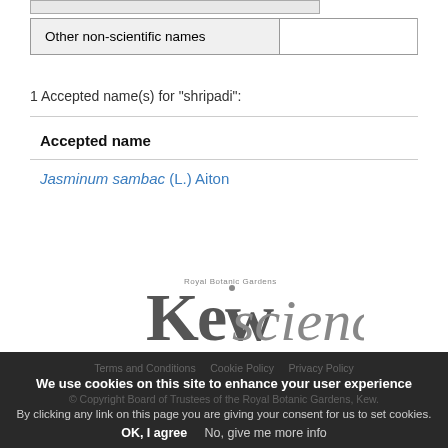| Other non-scientific names |
| --- |
1 Accepted name(s) for "shripadi":
| Accepted name |
| --- |
| Jasminum sambac (L.) Aiton |
[Figure (logo): Royal Botanic Gardens Kew Science logo]
We use cookies on this site to enhance your user experience
By clicking any link on this page you are giving your consent for us to set cookies.
Terms and Conditions   Cookie Policy   Privacy Policy
© Copyright Board of Trustees of the Royal Botanic Gardens, Kew.
OK, I agree   No, give me more info